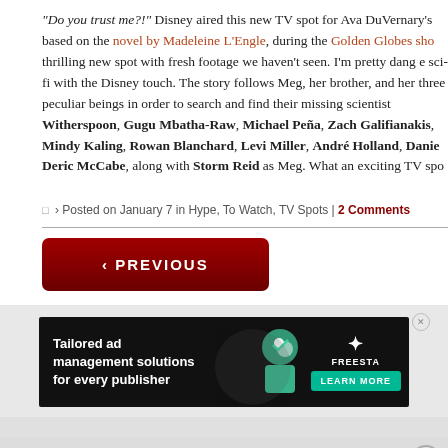"Do you trust me?!" Disney aired this new TV spot for Ava DuVernary's based on the novel by Madeleine L'Engle, during the Golden Globes sho thrilling new spot with fresh footage we haven't seen. I'm pretty dang e sci-fi with the Disney touch. The story follows Meg, her brother, and her three peculiar beings in order to search and find their missing scientist Witherspoon, Gugu Mbatha-Raw, Michael Peña, Zach Galifianakis, Mindy Kaling, Rowan Blanchard, Levi Miller, André Holland, Danie Deric McCabe, along with Storm Reid as Meg. What an exciting TV spo
Posted on January 7 in Hype, To Watch, TV Spots | 2 Comments
‹ PREVIOUS
[Figure (other): Advertisement banner for Freestar tailored ad management solutions]
Want emails instead? Subscribe to our daily newsletter updates: